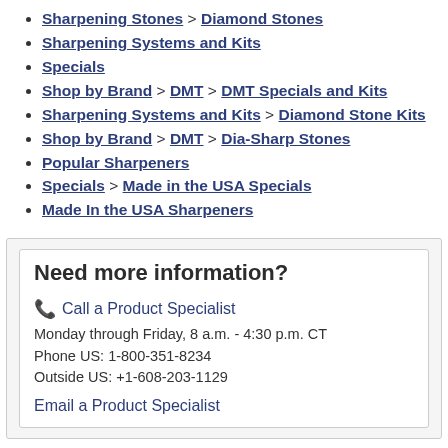Sharpening Stones > Diamond Stones
Sharpening Systems and Kits
Specials
Shop by Brand > DMT > DMT Specials and Kits
Sharpening Systems and Kits > Diamond Stone Kits
Shop by Brand > DMT > Dia-Sharp Stones
Popular Sharpeners
Specials > Made in the USA Specials
Made In the USA Sharpeners
Need more information?
Call a Product Specialist
Monday through Friday, 8 a.m. - 4:30 p.m. CT
Phone US: 1-800-351-8234
Outside US: +1-608-203-1129
Email a Product Specialist